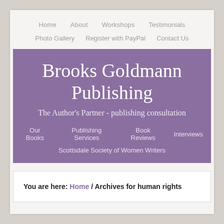Home   About   Workshops   Testimonials
Photo Gallery   Register with PayPal   Contact Us
Brooks Goldmann Publishing
The Author's Partner - publishing consultation
Our Books   Publishing Services   Book Reviews   Interviews   Scottsdale Society of Women Writers
You are here: Home / Archives for human rights